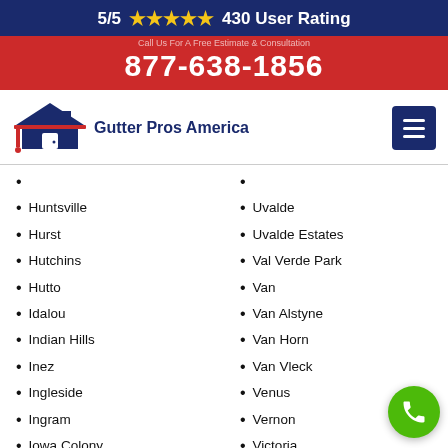5/5 ★★★★★ 430 User Rating
877-638-1856
[Figure (logo): Gutter Pros America logo with house/roof icon in navy blue and red]
Huntsville
Hurst
Hutchins
Hutto
Idalou
Indian Hills
Inez
Ingleside
Ingram
Iowa Colony
Iowa Park
Iraan
Irving
Uvalde
Uvalde Estates
Val Verde Park
Van
Van Alstyne
Van Horn
Van Vleck
Venus
Vernon
Victoria
Vidor
Vinton
Von Ormy